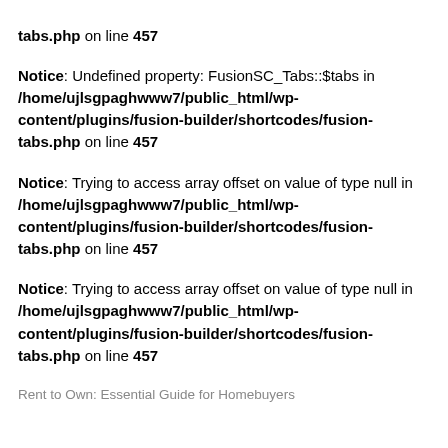tabs.php on line 457
Notice: Undefined property: FusionSC_Tabs::$tabs in /home/ujlsgpaghwww7/public_html/wp-content/plugins/fusion-builder/shortcodes/fusion-tabs.php on line 457
Notice: Trying to access array offset on value of type null in /home/ujlsgpaghwww7/public_html/wp-content/plugins/fusion-builder/shortcodes/fusion-tabs.php on line 457
Notice: Trying to access array offset on value of type null in /home/ujlsgpaghwww7/public_html/wp-content/plugins/fusion-builder/shortcodes/fusion-tabs.php on line 457
Rent to Own: Essential Guide for Homebuyers